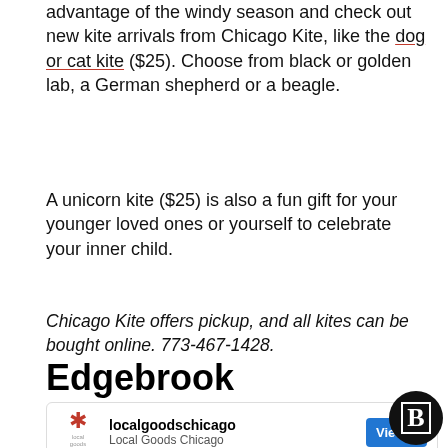advantage of the windy season and check out new kite arrivals from Chicago Kite, like the dog or cat kite ($25). Choose from black or golden lab, a German shepherd or a beagle.
A unicorn kite ($25) is also a fun gift for your younger loved ones or yourself to celebrate your inner child.
Chicago Kite offers pickup, and all kites can be bought online. 773-467-1428.
Edgebrook
[Figure (screenshot): Social media post card from localgoodschicago / Local Goods Chicago with a View profile button and a B badge logo overlay, plus a photo strip of nature/forest imagery at the bottom.]